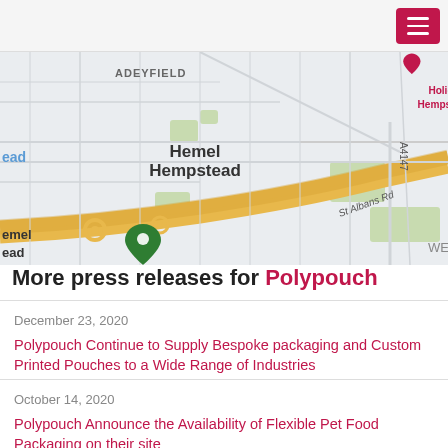[Figure (map): Google Maps screenshot showing Hemel Hempstead area with Adeyfield label, St Albans Rd, A4147, Holiday Inn Hemel Hempstead M1 JCT. 8 marker, green location pin, and yellow road highlights.]
More press releases for Polypouch
December 23, 2020
Polypouch Continue to Supply Bespoke packaging and Custom Printed Pouches to a Wide Range of Industries
October 14, 2020
Polypouch Announce the Availability of Flexible Pet Food Packaging on their site